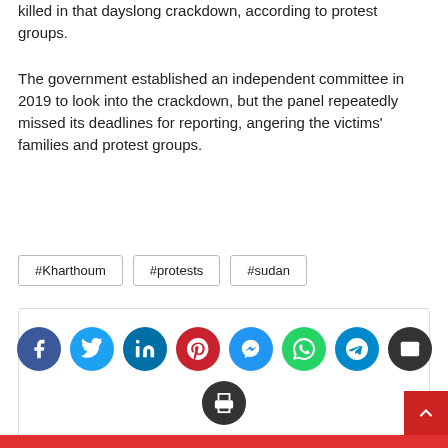killed in that dayslong crackdown, according to protest groups.
The government established an independent committee in 2019 to look into the crackdown, but the panel repeatedly missed its deadlines for reporting, angering the victims' families and protest groups.
#Kharthoum
#protests
#sudan
[Figure (infographic): Social media share buttons row: Facebook, Twitter, LinkedIn, Pinterest, Messenger, WhatsApp, Telegram, Email icons, and a Print icon below.]